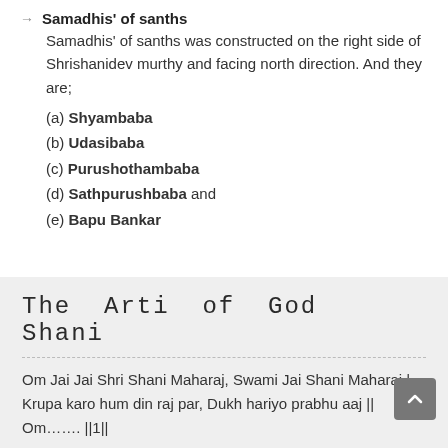Samadhis' of sanths
Samadhis' of sanths was constructed on the right side of Shrishanidev murthy and facing north direction. And they are;
(a) Shyambaba
(b) Udasibaba
(c) Purushothambaba
(d) Sathpurushbaba and
(e) Bapu Bankar
The Arti of God Shani
Om Jai Jai Shri Shani Maharaj, Swami Jai Shani Maharaj |
Krupa karo hum din raj par, Dukh hariyo prabhu aaj || Om……. ||1||